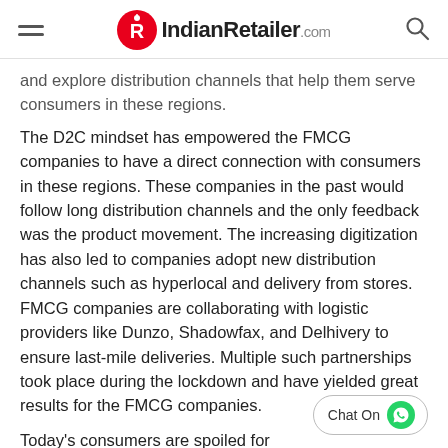IndianRetailer.com
and explore distribution channels that help them serve consumers in these regions.
The D2C mindset has empowered the FMCG companies to have a direct connection with consumers in these regions. These companies in the past would follow long distribution channels and the only feedback was the product movement. The increasing digitization has also led to companies adopt new distribution channels such as hyperlocal and delivery from stores. FMCG companies are collaborating with logistic providers like Dunzo, Shadowfax, and Delhivery to ensure last-mile deliveries. Multiple such partnerships took place during the lockdown and have yielded great results for the FMCG companies.
Today's consumers are spoiled for choices, with a plethora of brands and shopping platforms. The brands